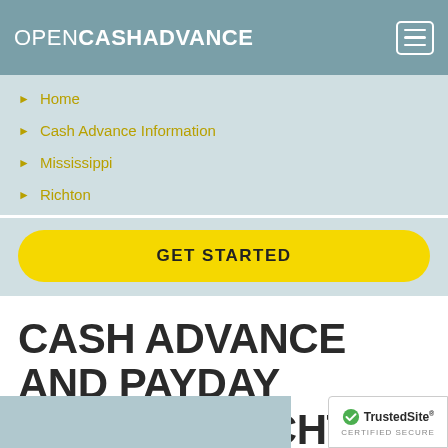OPENCASHADVANCE
Home
Cash Advance Information
Mississippi
Richton
GET STARTED
CASH ADVANCE AND PAYDAY LOANS IN RICHTON, MS.
[Figure (logo): TrustedSite CERTIFIED SECURE badge]